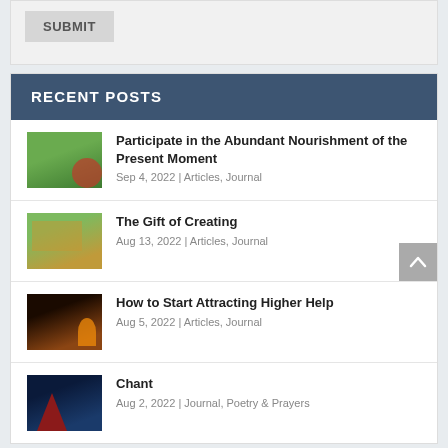SUBMIT
RECENT POSTS
Participate in the Abundant Nourishment of the Present Moment
Sep 4, 2022 | Articles, Journal
The Gift of Creating
Aug 13, 2022 | Articles, Journal
How to Start Attracting Higher Help
Aug 5, 2022 | Articles, Journal
Chant
Aug 2, 2022 | Journal, Poetry & Prayers